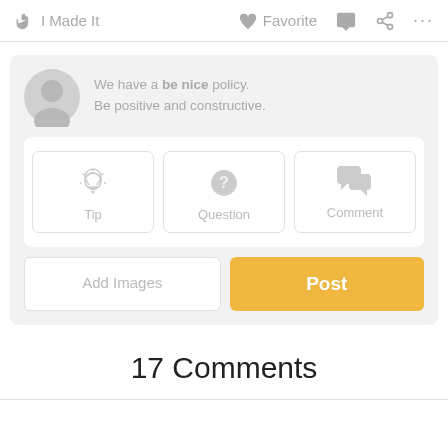✋ I Made It   ♡ Favorite   💬   ⋖   ···
[Figure (screenshot): Comment submission UI with avatar placeholder, 'be nice' policy text, Tip / Question / Comment type buttons, Add Images button, and Post button]
We have a be nice policy. Be positive and constructive.
Tip
Question
Comment
Add Images
Post
17 Comments